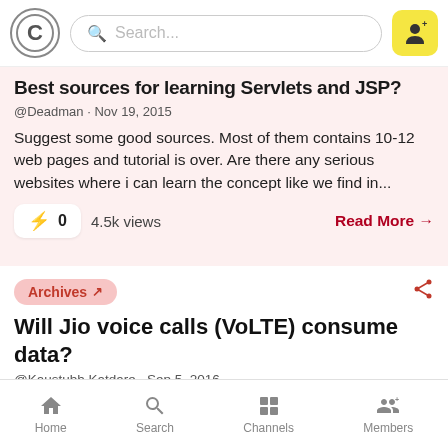Search
Best sources for learning Servlets and JSP?
@Deadman · Nov 19, 2015
Suggest some good sources. Most of them contains 10-12 web pages and tutorial is over. Are there any serious websites where i can learn the concept like we find in...
⚡ 0   4.5k views   Read More →
Archives 🔗
Will Jio voice calls (VoLTE) consume data?
@Kaustubh Katdare · Sep 5, 2016
Home  Search  Channels  Members